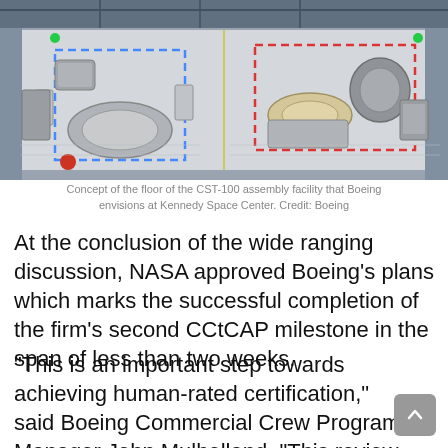[Figure (photo): Aerial concept rendering of the CST-100 assembly facility floor at Kennedy Space Center, showing spacecraft components laid out on a large industrial floor with dashed outlines indicating vehicle positions. Blue and red dashed rectangles mark assembly zones.]
Concept of the floor of the CST-100 assembly facility that Boeing envisions at Kennedy Space Center. Credit: Boeing
At the conclusion of the wide ranging discussion, NASA approved Boeing's plans which marks the successful completion of the firm's second CCtCAP milestone in the span of less than two weeks.
“This is an important step towards achieving human-rated certification,” said Boeing Commercial Crew Program Manager John Mulholland. “This review provided an in-depth assessment of our training,